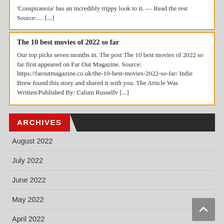'Conspiranoia' has an incredibly trippy look to it. — Read the rest Source:... [...]
The 10 best movies of 2022 so far
Our top picks seven months in. The post The 10 best movies of 2022 so far first appeared on Far Out Magazine. Source: https://faroutmagazine.co.uk/the-10-best-movies-2022-so-far/ Indie Brew found this story and shared it with you. The Article Was Written/Published By: Calum Russellv [...]
ARCHIVES
August 2022
July 2022
June 2022
May 2022
April 2022
March 2022